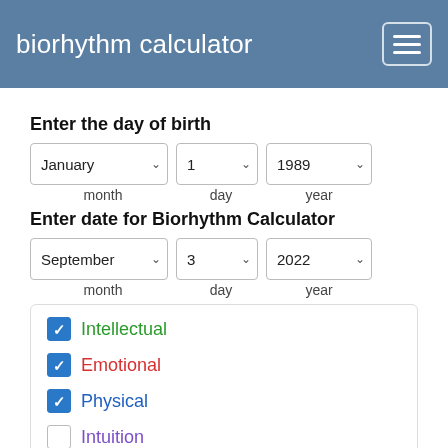biorhythm calculator
Enter the day of birth
month   day   year (January, 1, 1989)
Enter date for Biorhythm Calculator
month   day   year (September, 3, 2022)
☑ Intellectual
☑ Emotional
☑ Physical
☐ Intuition
☐ Spiritual
☐ Awareness
☐ Aesthetic
☐ Calculate Biorhythm Compatibility